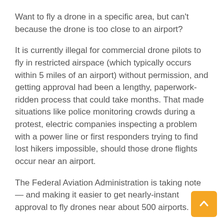Want to fly a drone in a specific area, but can't because the drone is too close to an airport?
It is currently illegal for commercial drone pilots to fly in restricted airspace (which typically occurs within 5 miles of an airport) without permission, and getting approval had been a lengthy, paperwork-ridden process that could take months. That made situations like police monitoring crowds during a protest, electric companies inspecting a problem with a power line or first responders trying to find lost hikers impossible, should those drone flights occur near an airport.
The Federal Aviation Administration is taking note — and making it easier to get nearly-instant approval to fly drones near about 500 airports.
The FAA at the 2018 FAA UAS Symposium in Baltimore, Maryland today announced that it would expand its tests of its real-time approval processing program to 500 airports by the fall of this year.
The tests are a part of the FAA's Low Altitude Authorization and Notification Capability (LAANC) program, which began last November at just a handful of air traffic facilities. The